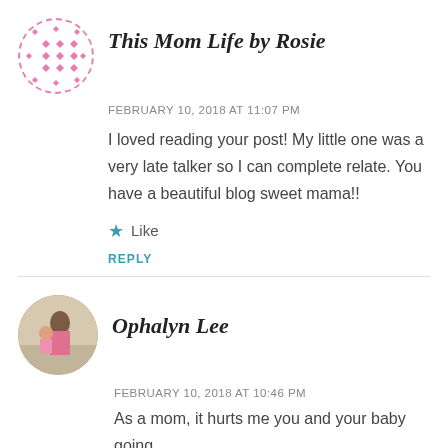[Figure (logo): Pink decorative diamond/geometric pattern avatar for This Mom Life by Rosie]
This Mom Life by Rosie
FEBRUARY 10, 2018 AT 11:07 PM
I loved reading your post! My little one was a very late talker so I can complete relate. You have a beautiful blog sweet mama!!
Like
REPLY
[Figure (photo): Circular avatar photo of Ophalyn Lee showing a woman holding a baby outdoors]
Ophalyn Lee
FEBRUARY 10, 2018 AT 10:46 PM
As a mom, it hurts me you and your baby going